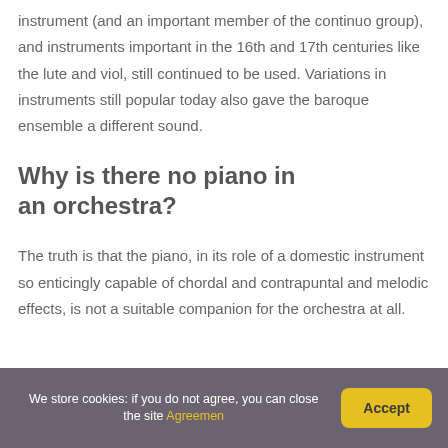instrument (and an important member of the continuo group), and instruments important in the 16th and 17th centuries like the lute and viol, still continued to be used. Variations in instruments still popular today also gave the baroque ensemble a different sound.
Why is there no piano in an orchestra?
The truth is that the piano, in its role of a domestic instrument so enticingly capable of chordal and contrapuntal and melodic effects, is not a suitable companion for the orchestra at all.
We store cookies: if you do not agree, you can close the site Agreemen Accept